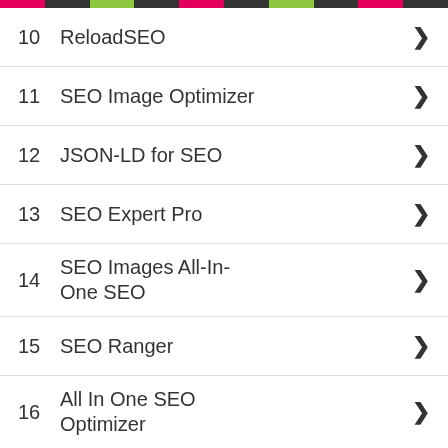10  ReloadSEO
11  SEO Image Optimizer
12  JSON-LD for SEO
13  SEO Expert Pro
14  SEO Images All-In-One SEO
15  SEO Ranger
16  All In One SEO Optimizer
17  SEO Assistant by